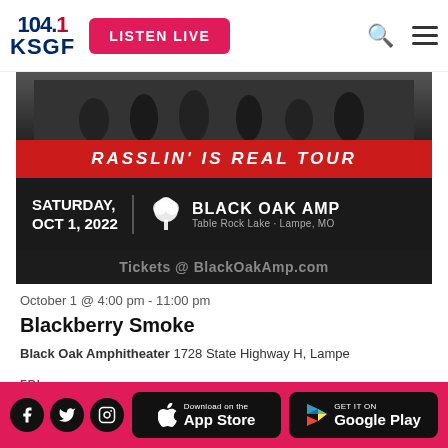104.1 KSGF | LISTEN LIVE
[Figure (photo): Concert event banner for 'Rasslin' Is Real Tour' featuring Blackberry Smoke at Black Oak Amp, Saturday Oct 1 2022, Table Rock Lake, Lampe, MO. Tickets at BlackOakAmp.com.]
October 1 @ 4:00 pm - 11:00 pm
Blackberry Smoke
Black Oak Amphitheater 1728 State Highway H, Lampe
FRI
14
THE 8TH ANNUAL
Social icons: Facebook, Twitter, Instagram | Download on the App Store | GET IT ON Google Play